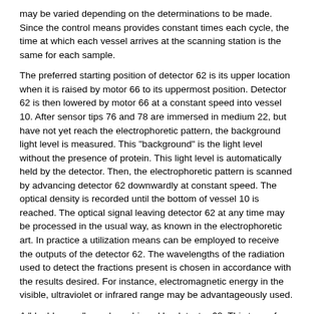may be varied depending on the determinations to be made. Since the control means provides constant times each cycle, the time at which each vessel arrives at the scanning station is the same for each sample.
The preferred starting position of detector 62 is its upper location when it is raised by motor 66 to its uppermost position. Detector 62 is then lowered by motor 66 at a constant speed into vessel 10. After sensor tips 76 and 78 are immersed in medium 22, but have not yet reach the electrophoretic pattern, the background light level is measured. This "background" is the light level without the presence of protein. This light level is automatically held by the detector. Then, the electrophoretic pattern is scanned by advancing detector 62 downwardly at constant speed. The optical density is recorded until the bottom of vessel 10 is reached. The optical signal leaving detector 62 at any time may be processed in the usual way, as known in the electrophoretic art. In practice a utilization means can be employed to receive the outputs of the detector 62. The wavelengths of the radiation used to detect the fractions present is chosen in accordance with the results desired. For instance, electromagnetic energy in the visible, ultraviolet or infrared range may be advantageously used.
A "double scan" may be achieved by detector 62. This type of scan involves recording the electrophoretic pattern when moving downwardly and when moving upwardly in the electrophoretic medium. It will be appreciated that the present method permits an immediate absolute determination of all